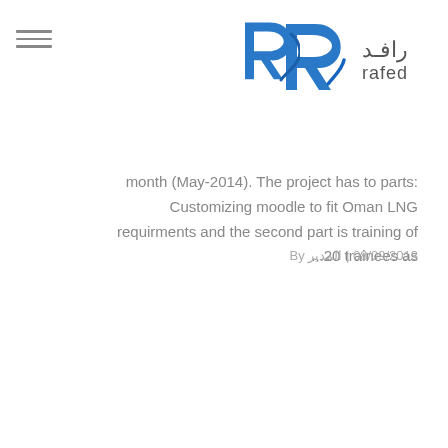رافد rafed
month (May-2014). The project has to parts: Customizing moodle to fit Oman LNG requirments and the second part is training of 20 trainees as...
By المدير | 08/09/2013